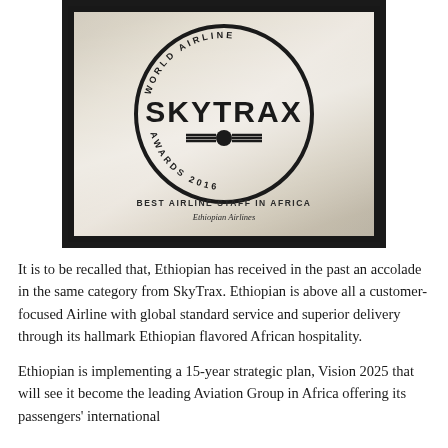[Figure (photo): Close-up photograph of a metallic Skytrax World Airline Awards 2016 plaque with circular logo reading 'WORLD AIRLINE SKYTRAX AWARDS 2016' with wings emblem, and text below reading 'BEST AIRLINE STAFF IN AFRICA - Ethiopian Airlines']
It is to be recalled that, Ethiopian has received in the past an accolade in the same category from SkyTrax. Ethiopian is above all a customer-focused Airline with global standard service and superior delivery through its hallmark Ethiopian flavored African hospitality.
Ethiopian is implementing a 15-year strategic plan, Vision 2025 that will see it become the leading Aviation Group in Africa offering its passengers' international standard service with five star service delivery and beyond.